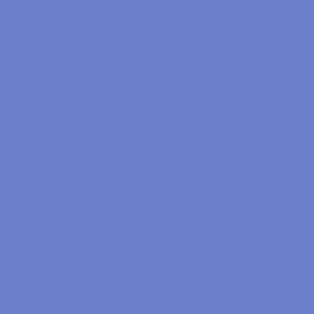If you fail to renew your registration, your domain may be redirected to a default page and the default page may feature advertiser...
If we have elected to renew the registration, re-register the domain name from u... a parked page and/or may revise t... that of your Reseller. The domain n... such auction, it will be acquired by... registration by you during our state... grace period, the auction sale will b...
If you fail to renew your domain na... have abandoned the domain name...
16. BREACH. You agree that failu... policy or the Dispute Policy provide... we may provide a written notice, de... date of such notice, you fail to prov... not breached your obligations unde... of your domain name. Any such bre... did not act earlier in response to tha...
17. DISCLAIMER OF WARRANTI... risk. You agree that such Service... disclaim all warranties of any kind,... warranties of merchantability, fitne... warranty that the Services will me... timely, secure, or error free; nor do... the use of the Service(s) or as to... Service or that defects in the Serv... and/or data downloaded or other... discretion and risk and that you wi... loss of data that results from the... regarding any goods or services pu... into through the Service. No advice... through the Service shall create any...